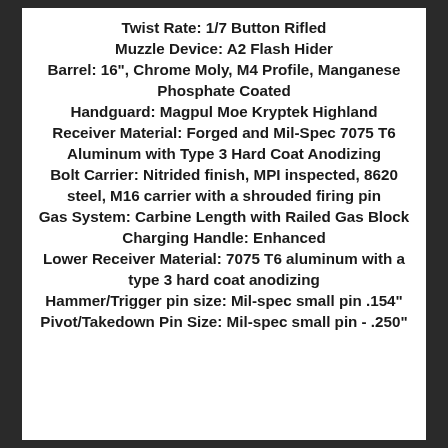Twist Rate: 1/7 Button Rifled
Muzzle Device: A2 Flash Hider
Barrel: 16", Chrome Moly, M4 Profile, Manganese Phosphate Coated
Handguard: Magpul Moe Kryptek Highland
Receiver Material: Forged and Mil-Spec 7075 T6 Aluminum with Type 3 Hard Coat Anodizing
Bolt Carrier: Nitrided finish, MPI inspected, 8620 steel, M16 carrier with a shrouded firing pin
Gas System: Carbine Length with Railed Gas Block
Charging Handle: Enhanced
Lower Receiver Material: 7075 T6 aluminum with a type 3 hard coat anodizing
Hammer/Trigger pin size: Mil-spec small pin .154"
Pivot/Takedown Pin Size: Mil-spec small pin - .250"